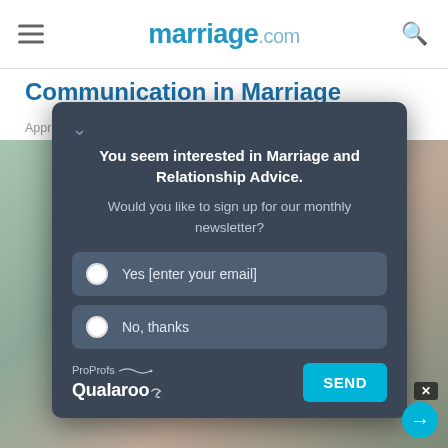marriage.com
Communication in Marriage
Approved By Angela Welch, Marriage & Family Therapist
[Figure (screenshot): Popup dialog from Qualaroo/ProProfs asking user if they want to sign up for monthly newsletter, with Yes and No options and a SEND button]
You seem interested in Marriage and Relationship Advice.
Would you like to sign up for our monthly newsletter?
Yes [enter your email]
No, thanks